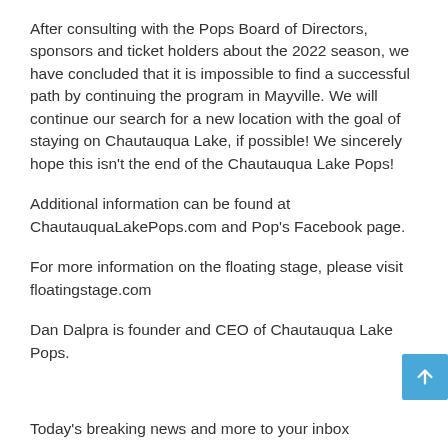After consulting with the Pops Board of Directors, sponsors and ticket holders about the 2022 season, we have concluded that it is impossible to find a successful path by continuing the program in Mayville. We will continue our search for a new location with the goal of staying on Chautauqua Lake, if possible! We sincerely hope this isn't the end of the Chautauqua Lake Pops!
Additional information can be found at ChautauquaLakePops.com and Pop's Facebook page.
For more information on the floating stage, please visit floatingstage.com
Dan Dalpra is founder and CEO of Chautauqua Lake Pops.
Today's breaking news and more to your inbox